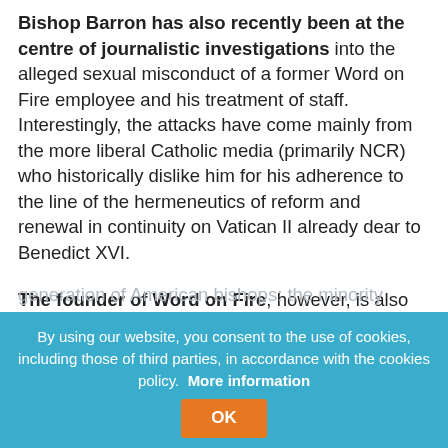Bishop Barron has also recently been at the centre of journalistic investigations into the alleged sexual misconduct of a former Word on Fire employee and his treatment of staff. Interestingly, the attacks have come mainly from the more liberal Catholic media (primarily NCR) who historically dislike him for his adherence to the line of the hermeneutics of reform and renewal in continuity on Vatican II already dear to Benedict XVI.
The founder of Word on Fire, however, is also criticised by traditionalists for praising James Martin and commenting favourably on one of his books. Some, simplifying, call him a centrist. Such [generation of American bishops: the minority share of progressives in the…]
By using our website, you consent to the use of cookies, including those of third parties, in accordance with the cookies policy. More information
OK